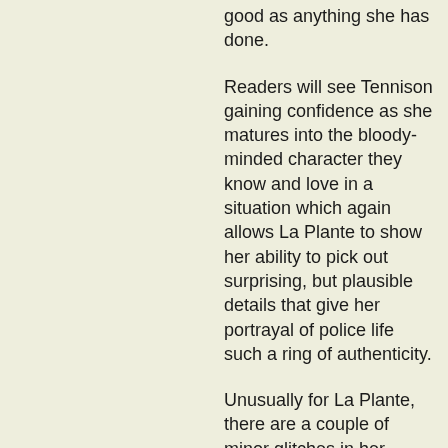good as anything she has done.
Readers will see Tennison gaining confidence as she matures into the bloody-minded character they know and love in a situation which again allows La Plante to show her ability to pick out surprising, but plausible details that give her portrayal of police life such a ring of authenticity.
Unusually for La Plante, there are a couple of minor glitches in her backgrounding of what is otherwise a realistic and compelling plot. The book is set in the 1979 'Winter of Discontent', when prime minister James